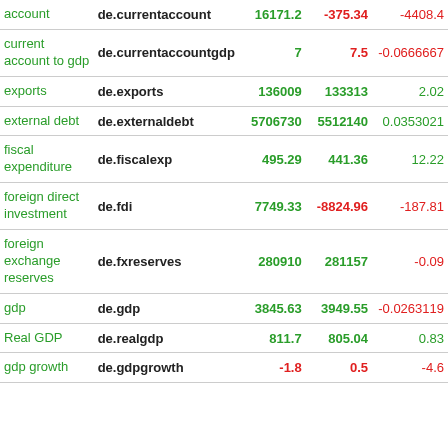|  |  |  |  |  |
| --- | --- | --- | --- | --- |
| account | de.currentaccount | 16171.2 | -375.34 | -4408.4 |
| current account to gdp | de.currentaccountgdp | 7 | 7.5 | -0.0666667 |
| exports | de.exports | 136009 | 133313 | 2.02 |
| external debt | de.externaldebt | 5706730 | 5512140 | 0.0353021 |
| fiscal expenditure | de.fiscalexp | 495.29 | 441.36 | 12.22 |
| foreign direct investment | de.fdi | 7749.33 | -8824.96 | -187.81 |
| foreign exchange reserves | de.fxreserves | 280910 | 281157 | -0.09 |
| gdp | de.gdp | 3845.63 | 3949.55 | -0.0263119 |
| Real GDP | de.realgdp | 811.7 | 805.04 | 0.83 |
| gdp growth | de.gdpgrowth | -1.8 | 0.5 | -4.6 |